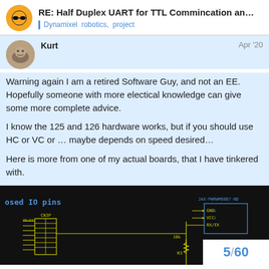RE: Half Duplex UART for TTL Commincation an… | Dynamixel robotics, project
Kurt  Apr '20
Warning again I am a retired Software Guy, and not an EE. Hopefully someone with more electical knowledge can give some more complete advice.

I know the 125 and 126 hardware works, but if you should use HC or VC or … maybe depends on speed desired…

Here is more from one of my actual boards, that I have tinkered with.
[Figure (screenshot): Black background schematic/PCB layout screenshot showing IO pins connector (CN3P) on left, yellow circuit traces, and component JAX-PWRWM8887-ND with GND, VCC, RX/TX pins on right. Page navigation showing 5/60 in bottom right corner.]